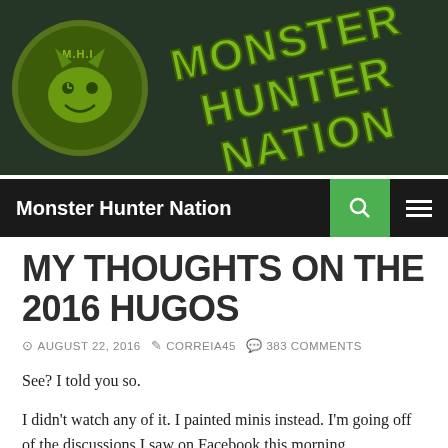[Figure (screenshot): Monster Hunter Nation website banner with green logo (M.H.I. circular emblem) and stylized green text 'MONSTER HUNTER NATION' on a dark background]
Monster Hunter Nation
MY THOUGHTS ON THE 2016 HUGOS
AUGUST 22, 2016  CORREIA45  383 COMMENTS
See? I told you so.
I didn't watch any of it. I painted minis instead. I'm going off of the discussions I saw on Facebook this morning.
How, it's after 2015's Celebration of Wrongfun. And I...